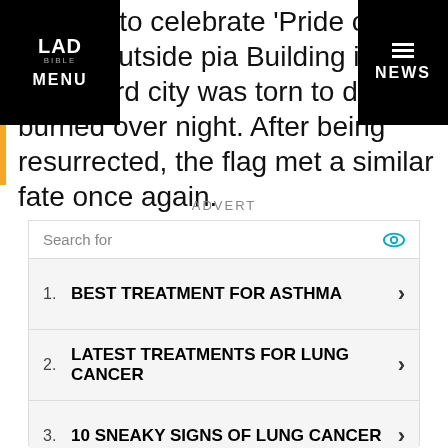LAD BIBLE — MENU / NEWS navigation bar
erected to celebrate 'Pride of the Deise' outside pia Building in Waterford city was torn to d and burned over night. After being resurrected, the flag met a similar fate once again.
ADVERT
1. BEST TREATMENT FOR ASTHMA
2. LATEST TREATMENTS FOR LUNG CANCER
3. 10 SNEAKY SIGNS OF LUNG CANCER
TOP 10 BOTTLED WATER